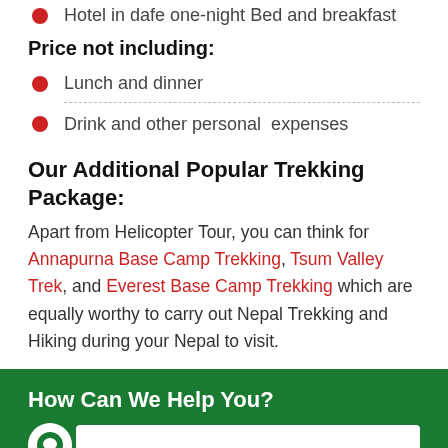Hotel in dafe one-night Bed and breakfast
Price not including:
Lunch and dinner
Drink and other personal expenses
Our Additional Popular Trekking Package:
Apart from Helicopter Tour, you can think for Annapurna Base Camp Trekking, Tsum Valley Trek, and Everest Base Camp Trekking which are equally worthy to carry out Nepal Trekking and Hiking during your Nepal to visit.
How Can We Help You?
Saroj Neupane